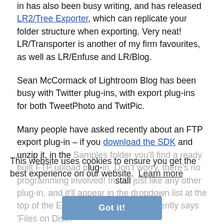in has also been busy writing, and has released LR2/Tree Exporter, which can replicate your folder structure when exporting. Very neat! LR/Transporter is another of my firm favourites, as well as LR/Enfuse and LR/Blog.
Sean McCormack of Lightroom Blog has been busy with Twitter plug-ins, with export plug-ins for both TweetPhoto and TwitPic.
Many people have asked recently about an FTP export plug-in – if you download the SDK and unzip it, in the Samples folder you'll find a ready built FTP upload plug-in. Don't worry, there's no programming involved! Install just like any other plug-in, and it'll appear in the dropdown list at the top of the Export dialog, where it currently says 'Files on Disk'.
This website uses cookies to ensure you get the best experience on our website. Learn more
Got it!